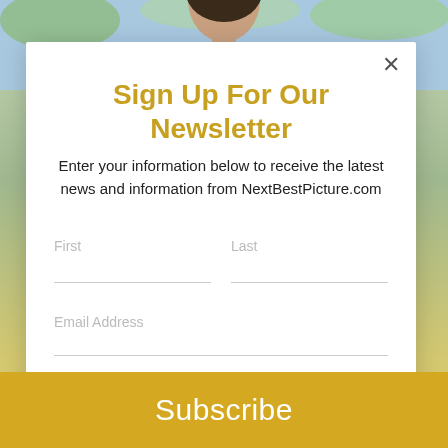[Figure (photo): Background photo of a woman in blue top outdoors, partially visible behind modal overlay]
Sign Up For Our Newsletter
Enter your information below to receive the latest news and information from NextBestPicture.com
First [form field]
Last [form field]
Email Address [form field]
Subscribe